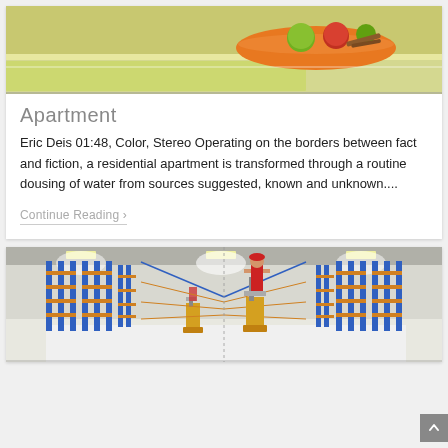[Figure (photo): Top portion of a kitchen counter with a bowl of fruit (apples, green apple, cinnamon sticks) on a yellow-green surface]
Apartment
Eric Deis 01:48, Color, Stereo Operating on the borders between fact and fiction, a residential apartment is transformed through a routine dousing of water from sources suggested, known and unknown....
Continue Reading ›
[Figure (photo): Wide warehouse interior with tall blue metal shelving racks, white floor, overhead lights, and a worker in red overalls standing on a yellow forklift machine]